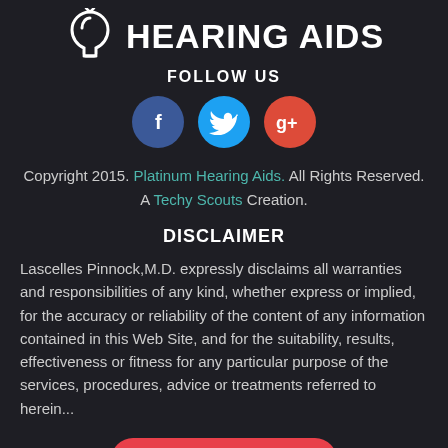HEARING AIDS
FOLLOW US
[Figure (illustration): Three social media icons: Facebook (blue circle with f), Twitter (light blue circle with bird), Google+ (red circle with g+)]
Copyright 2015. Platinum Hearing Aids. All Rights Reserved. A Techy Scouts Creation.
DISCLAIMER
Lascelles Pinnock,M.D. expressly disclaims all warranties and responsibilities of any kind, whether express or implied, for the accuracy or reliability of the content of any information contained in this Web Site, and for the suitability, results, effectiveness or fitness for any particular purpose of the services, procedures, advice or treatments referred to herein...
READ MORE